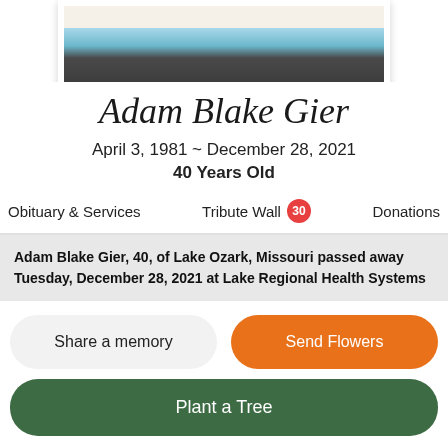[Figure (photo): Partial photo of Adam Blake Gier in a framed portrait, showing upper body in a dark jacket with a light blue background, cropped at top]
Adam Blake Gier
April 3, 1981 ~ December 28, 2021
40 Years Old
Obituary & Services   Tribute Wall 30   Donations
Adam Blake Gier, 40, of Lake Ozark, Missouri passed away Tuesday, December 28, 2021 at Lake Regional Health Systems
Share a memory
Send Flowers
Plant a Tree